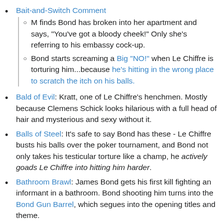Bait-and-Switch Comment
M finds Bond has broken into her apartment and says, "You've got a bloody cheek!" Only she's referring to his embassy cock-up.
Bond starts screaming a Big "NO!" when Le Chiffre is torturing him...because he's hitting in the wrong place to scratch the itch on his balls.
Bald of Evil: Kratt, one of Le Chiffre's henchmen. Mostly because Clemens Schick looks hilarious with a full head of hair and mysterious and sexy without it.
Balls of Steel: It's safe to say Bond has these - Le Chiffre busts his balls over the poker tournament, and Bond not only takes his testicular torture like a champ, he actively goads Le Chiffre into hitting him harder.
Bathroom Brawl: James Bond gets his first kill fighting an informant in a bathroom. Bond shooting him turns into the Bond Gun Barrel, which segues into the opening titles and theme.